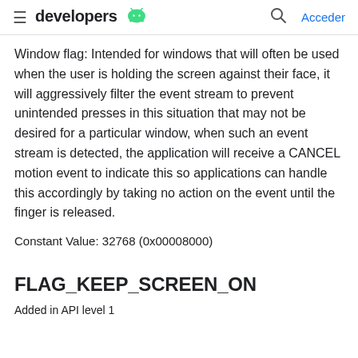≡ developers 🤖  🔍 Acceder
Window flag: Intended for windows that will often be used when the user is holding the screen against their face, it will aggressively filter the event stream to prevent unintended presses in this situation that may not be desired for a particular window, when such an event stream is detected, the application will receive a CANCEL motion event to indicate this so applications can handle this accordingly by taking no action on the event until the finger is released.
Constant Value: 32768 (0x00008000)
FLAG_KEEP_SCREEN_ON
Added in API level 1